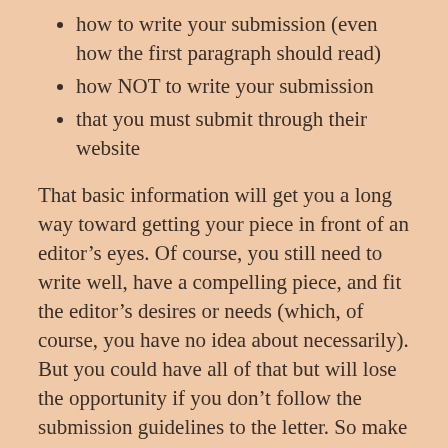how to write your submission (even how the first paragraph should read)
how NOT to write your submission
that you must submit through their website
That basic information will get you a long way toward getting your piece in front of an editor’s eyes. Of course, you still need to write well, have a compelling piece, and fit the editor’s desires or needs (which, of course, you have no idea about necessarily). But you could have all of that but will lose the opportunity if you don’t follow the submission guidelines to the letter. So make that a resolution!
2. Proofread your submission and have someone also (who